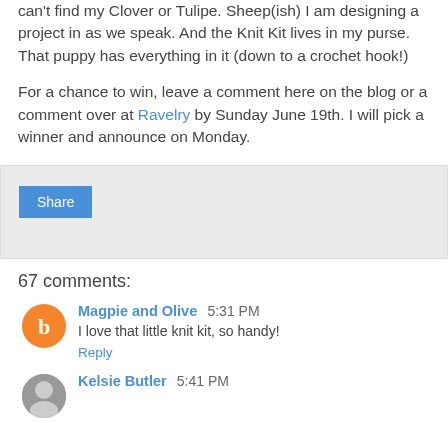can't find my Clover or Tulipe. Sheep(ish) I am designing a project in as we speak. And the Knit Kit lives in my purse. That puppy has everything in it (down to a crochet hook!)
For a chance to win, leave a comment here on the blog or a comment over at Ravelry by Sunday June 19th. I will pick a winner and announce on Monday.
[Figure (other): Share button widget area with grey background]
67 comments:
Magpie and Olive 5:31 PM
I love that little knit kit, so handy!
Reply
Kelsie Butler 5:41 PM